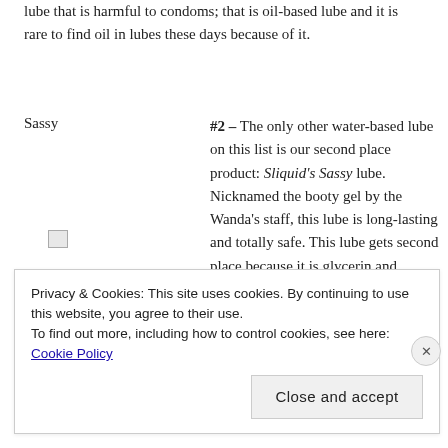lube that is harmful to condoms; that is oil-based lube and it is rare to find oil in lubes these days because of it.
[Figure (illustration): Broken image placeholder labeled 'Sassy']
#2 – The only other water-based lube on this list is our second place product: Sliquid's Sassy lube. Nicknamed the booty gel by the Wanda's staff, this lube is long-lasting and totally safe. This lube gets second place because it is glycerin and paraben free like our SUTIL friend but is not Canadian-made. The booty gel is great for a water-based anal lube
Privacy & Cookies: This site uses cookies. By continuing to use this website, you agree to their use.
To find out more, including how to control cookies, see here: Cookie Policy
Close and accept